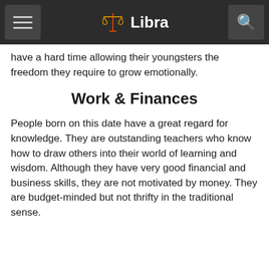Libra
have a hard time allowing their youngsters the freedom they require to grow emotionally.
Work & Finances
People born on this date have a great regard for knowledge. They are outstanding teachers who know how to draw others into their world of learning and wisdom. Although they have very good financial and business skills, they are not motivated by money. They are budget-minded but not thrifty in the traditional sense.